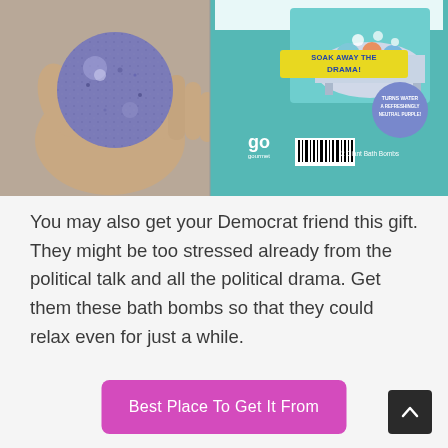[Figure (photo): Left half: a hand holding a large purple/blue glittery bath bomb. Right half: product packaging showing a bathtub graphic with text 'SOAK AWAY THE DRAMA!', 'TURNS WATER A REFRESHINGLY NEUTRAL PURPLE!', 'go gourmet', barcode, '2 Giant Bath Bombs'.]
You may also get your Democrat friend this gift. They might be too stressed already from the political talk and all the political drama. Get them these bath bombs so that they could relax even for just a while.
Best Place To Get It From